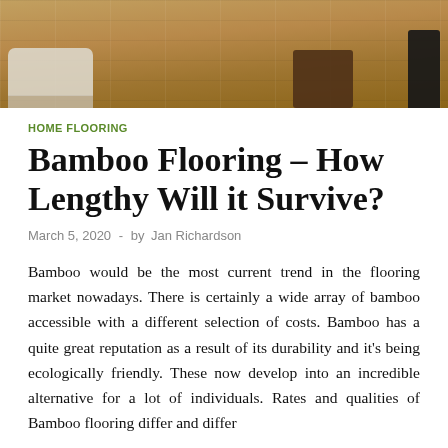[Figure (photo): Bamboo wood flooring in a room with a light-colored couch on the left, a dark wooden furniture piece in the center-right, and a black item on the far right.]
HOME FLOORING
Bamboo Flooring – How Lengthy Will it Survive?
March 5, 2020  -  by Jan Richardson
Bamboo would be the most current trend in the flooring market nowadays. There is certainly a wide array of bamboo accessible with a different selection of costs. Bamboo has a quite great reputation as a result of its durability and it's being ecologically friendly. These now develop into an incredible alternative for a lot of individuals. Rates and qualities of Bamboo flooring differ and differ